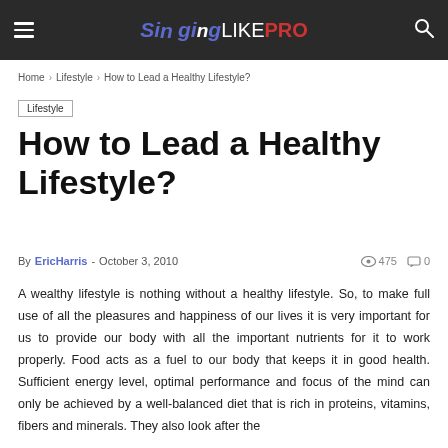SingingLIKEPRO
Home › Lifestyle › How to Lead a Healthy Lifestyle?
Lifestyle
How to Lead a Healthy Lifestyle?
By EricHarris - October 3, 2010  475  0
A wealthy lifestyle is nothing without a healthy lifestyle. So, to make full use of all the pleasures and happiness of our lives it is very important for us to provide our body with all the important nutrients for it to work properly. Food acts as a fuel to our body that keeps it in good health. Sufficient energy level, optimal performance and focus of the mind can only be achieved by a well-balanced diet that is rich in proteins, vitamins, fibers and minerals. They also look after the